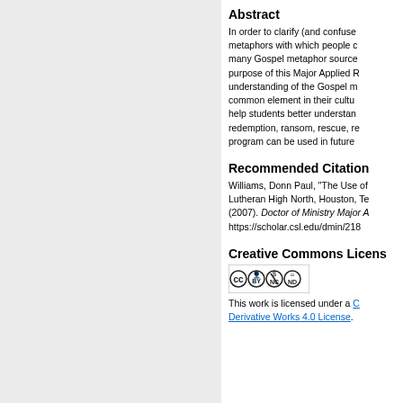Abstract
In order to clarify (and confuse metaphors with which people c many Gospel metaphor source purpose of this Major Applied R understanding of the Gospel m common element in their cultu help students better understan redemption, ransom, rescue, re program can be used in future
Recommended Citation
Williams, Donn Paul, "The Use of Lutheran High North, Houston, Te (2007). Doctor of Ministry Major A https://scholar.csl.edu/dmin/218
Creative Commons License
[Figure (logo): Creative Commons BY-NC-ND license badge]
This work is licensed under a Creative Commons Attribution-NonCommercial-No Derivative Works 4.0 License.